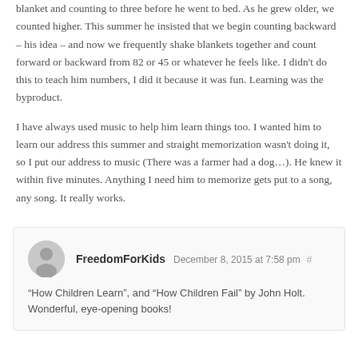blanket and counting to three before he went to bed. As he grew older, we counted higher. This summer he insisted that we begin counting backward – his idea – and now we frequently shake blankets together and count forward or backward from 82 or 45 or whatever he feels like. I didn't do this to teach him numbers, I did it because it was fun. Learning was the byproduct.
I have always used music to help him learn things too. I wanted him to learn our address this summer and straight memorization wasn't doing it, so I put our address to music (There was a farmer had a dog…). He knew it within five minutes. Anything I need him to memorize gets put to a song, any song. It really works.
FreedomForKids December 8, 2015 at 7:58 pm # "How Children Learn", and "How Children Fail" by John Holt. Wonderful, eye-opening books!